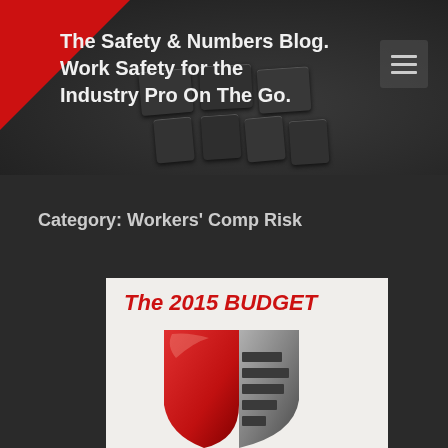The Safety & Numbers Blog. Work Safety for the Industry Pro On The Go.
Category: Workers' Comp Risk
[Figure (logo): The 2015 BUDGET graphic with a red and grey shield/badge logo containing stair-step lines]